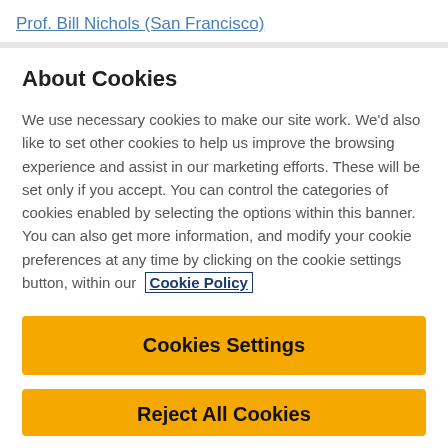Prof. Bill Nichols (San Francisco)
About Cookies
We use necessary cookies to make our site work. We'd also like to set other cookies to help us improve the browsing experience and assist in our marketing efforts. These will be set only if you accept. You can control the categories of cookies enabled by selecting the options within this banner. You can also get more information, and modify your cookie preferences at any time by clicking on the cookie settings button, within our Cookie Policy
Cookies Settings
Reject All Cookies